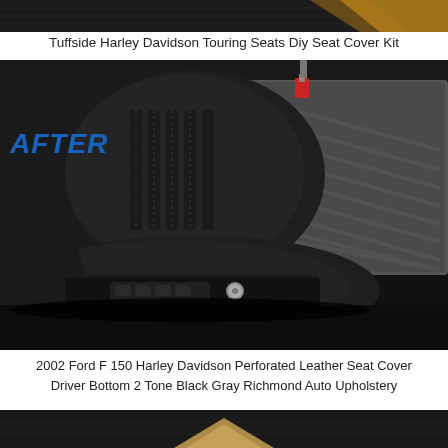[Figure (photo): Top cropped photo showing dark leather car seat detail with orange/gold accent trim visible at top right]
Tuffside Harley Davidson Touring Seats Diy Seat Cover Kit
[Figure (photo): After photo of 2002 Ford F-150 Harley Davidson black and gray two-tone perforated leather seat cover installed on driver bottom seat, showing stitching, seat controls, and Richmond Auto Upholstery logo in bottom left corner]
2002 Ford F 150 Harley Davidson Perforated Leather Seat Cover Driver Bottom 2 Tone Black Gray Richmond Auto Upholstery
[Figure (photo): Bottom cropped photo showing dark leather material with gold/tan colored chevron or V-shaped design visible]